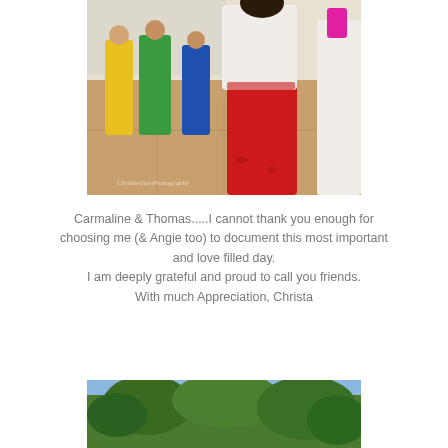[Figure (photo): Dancers in colorful traditional South Asian attire (salwar kameez) on a wooden dance floor in a banquet hall. The foreground shows a woman in a red lehnga and white dupatta, others in green, yellow, and blue outfits behind her. Watermark reads 'Christa-Sun Photography'.]
Carmaline & Thomas.....I cannot thank you enough for choosing me (& Angie too) to document this most important and love filled day.
I am deeply grateful and proud to call you friends.
With much Appreciation, Christa
[Figure (photo): Partial view of lush green trees and foliage, bottom of page, partially cut off.]